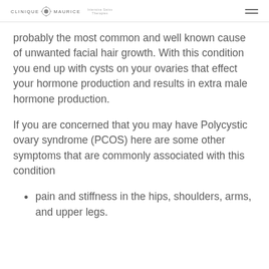CLINIQUE MAURICE
probably the most common and well known cause of unwanted facial hair growth. With this condition you end up with cysts on your ovaries that effect your hormone production and results in extra male hormone production.
If you are concerned that you may have Polycystic ovary syndrome (PCOS) here are some other symptoms that are commonly associated with this condition
pain and stiffness in the hips, shoulders, arms, and upper legs.